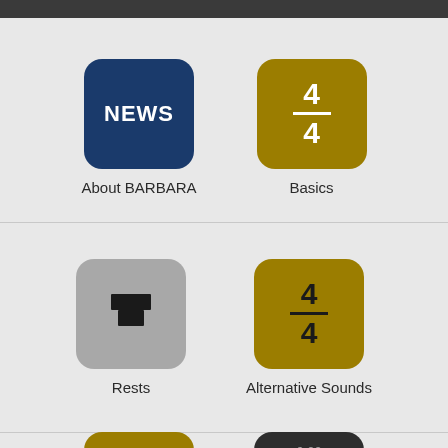[Figure (screenshot): App menu grid showing music education app icons: About BARBARA (blue NEWS icon), Basics (gold 4/4 icon), Rests (grey icon with rest symbol), Alternative Sounds (gold 4/4 icon), LONG (gold icon, partially visible), unnamed dark icon with 6:00 192 (partially visible)]
About BARBARA
Basics
Rests
Alternative Sounds